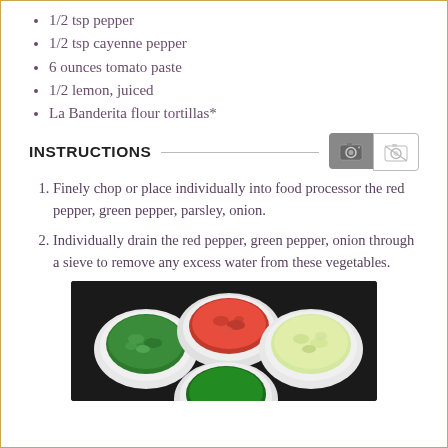1/2 tsp pepper
1/2 tsp cayenne pepper
6 ounces tomato paste
1/2 lemon, juiced
La Banderita flour tortillas*
INSTRUCTIONS
Finely chop or place individually into food processor the red pepper, green pepper, parsley, onion.
Individually drain the red pepper, green pepper, onion through a sieve to remove any excess water from these vegetables.
[Figure (photo): Three white bowls on a dark background containing finely chopped vegetables: green herbs/parsley (left), red pepper (top center), and onion (right), with a partial fourth bowl at the bottom.]